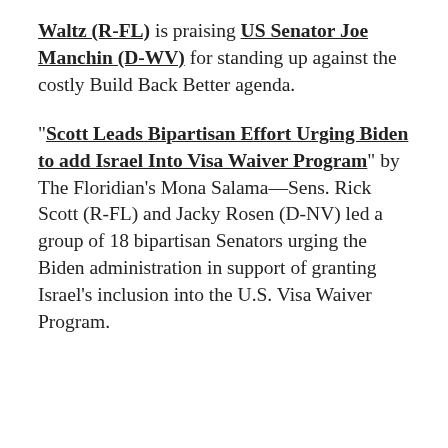Waltz (R-FL) is praising US Senator Joe Manchin (D-WV) for standing up against the costly Build Back Better agenda.
"Scott Leads Bipartisan Effort Urging Biden to add Israel Into Visa Waiver Program" by The Floridian's Mona Salama—Sens. Rick Scott (R-FL) and Jacky Rosen (D-NV) led a group of 18 bipartisan Senators urging the Biden administration in support of granting Israel's inclusion into the U.S. Visa Waiver Program.